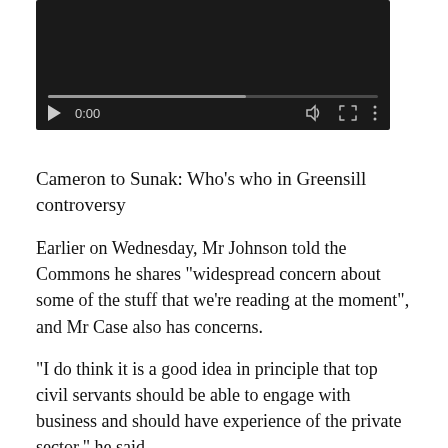[Figure (screenshot): Video player with dark background showing playback controls: play button, timestamp 0:00, volume icon, fullscreen icon, more options icon, and a progress bar at the bottom.]
Cameron to Sunak: Who’s who in Greensill controversy
Earlier on Wednesday, Mr Johnson told the Commons he shares “widespread concern about some of the stuff that we’re reading at the moment”, and Mr Case also has concerns.
“I do think it is a good idea in principle that top civil servants should be able to engage with business and should have experience of the private sector,” he said.